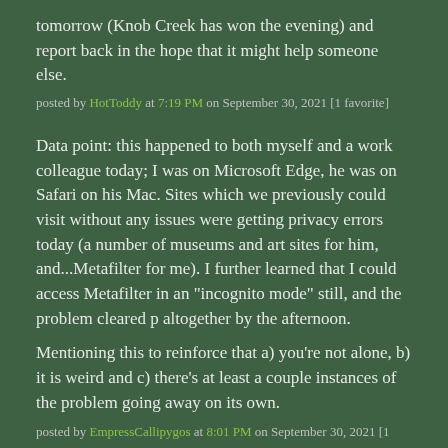tomorrow (Knob Creek has won the evening) and report back in the hope that it might help someone else.
posted by HotToddy at 7:19 PM on September 30, 2021 [1 favorite]
Data point: this happened to both myself and a work colleague today; I was on Microsoft Edge, he was on Safari on his Mac. Sites which we previously could visit without any issues were getting privacy errors today (a number of museums and art sites for him, and...Metafilter for me). I further learned that I could access Metafilter in an "incognito mode" still, and the problem cleared p altogether by the afternoon.
Mentioning this to reinforce that a) you’re not alone, b) it is weird and c) there’s at least a couple instances of the problem going away on its own.
posted by EmpressCallipygos at 8:01 PM on September 30, 2021 [1